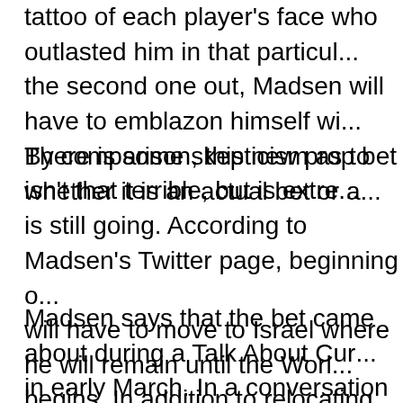tattoo of each player's face who outlasted him in that particular... the second one out, Madsen will have to emblazon himself wi... By comparison, this new prop bet isn't that terrible, but is extre...
There is some skepticism as to whether it is an actual bet or a... is still going. According to Madsen's Twitter page, beginning o... will have to move to Israel where he will remain until the World... begins. In addition to relocating, he will not be allowed to have... of his friends either by email, cell phone or anything. He will re... 28th, at which time, he can take the long flight back to Las Ve... by the terms of the bet, he stands to earn $50,000. It would se... sabbatical prior to the 2010 World Series of Poker shouldn't b... amounts to a month long vacation with a golden parachute at ...
Madsen says that the bet came about during a Talk About Cur... in early March. In a conversation with a well-heeled businessm... the idea for Madsen to move to another country. Recognizing... chance to pass up, Madsen jumped at the opportunity. Howev... curious as to why he waited until April Fools Day to tell the wo...